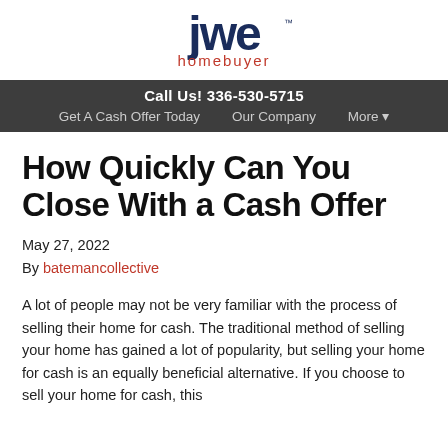[Figure (logo): JWE Homebuyer logo — stylized 'jwe' letters in dark navy blue with 'homebuyer' in salmon/red color below]
Call Us! 336-530-5715
Get A Cash Offer Today   Our Company   More ▾
How Quickly Can You Close With a Cash Offer
May 27, 2022
By batemancollective
A lot of people may not be very familiar with the process of selling their home for cash. The traditional method of selling your home has gained a lot of popularity, but selling your home for cash is an equally beneficial alternative. If you choose to sell your home for cash, this